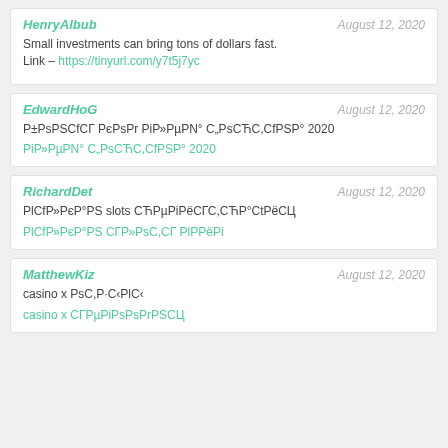HenryAlbub | August 12, 2020
Small investments can bring tons of dollars fast.
Link – https://tinyurl.com/y7t5j7yc
EdwardHoG | August 12, 2020
Р±РsPSCfCГ РєРsPr РіР»РµРN° С„РsСЋС,CfРSР° 2020
РіР»РµРN° С„РsСЋС,CfРSР° 2020
RichardDet | August 12, 2020
РlCfР»РєР°РS slots СЋРµРіРёСГС,СЋР°СtРёСЦ
РlCfР»РєР°РS СГР»РsС,СГ РlРРёРі
MatthewKiz | August 12, 2020
casino x РsС,Р·С‹РlС‹
casino x СГРµРіРsPsPrРSСЦ